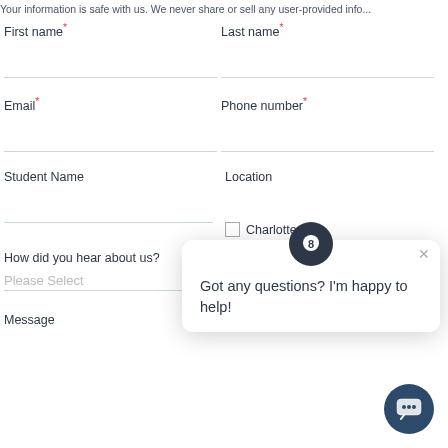Your information is safe with us. We never share or sell any user-provided info...
First name*
Last name*
Email*
Phone number*
Student Name
Location
Charlotte
How did you hear about us?
Please Select
Message
[Figure (screenshot): Chat popup widget with a dark avatar icon, close X button, and text 'Got any questions? I'm happy to help!']
[Figure (screenshot): Dark blue circular chat button with speech bubble icon in bottom right corner]